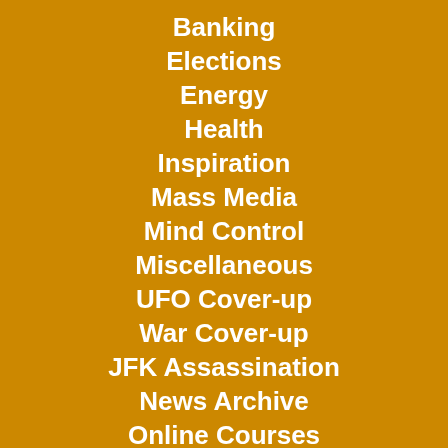Banking
Elections
Energy
Health
Inspiration
Mass Media
Mind Control
Miscellaneous
UFO Cover-up
War Cover-up
JFK Assassination
News Archive
Online Courses
Even Deeper
Overwhelmed?